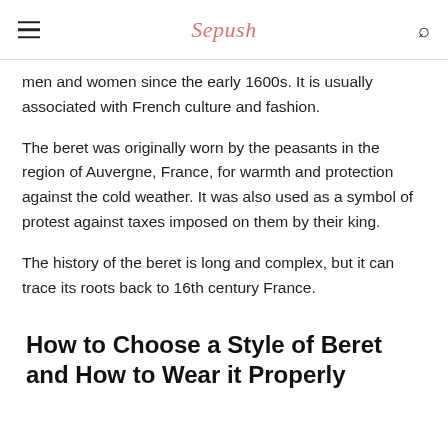Sepush
men and women since the early 1600s. It is usually associated with French culture and fashion.
The beret was originally worn by the peasants in the region of Auvergne, France, for warmth and protection against the cold weather. It was also used as a symbol of protest against taxes imposed on them by their king.
The history of the beret is long and complex, but it can trace its roots back to 16th century France.
How to Choose a Style of Beret and How to Wear it Properly